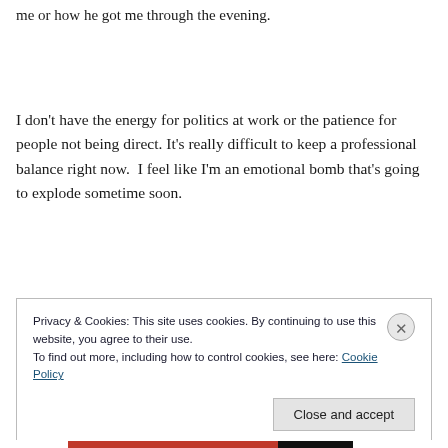me or how he got me through the evening.
I don't have the energy for politics at work or the patience for people not being direct. It's really difficult to keep a professional balance right now.  I feel like I'm an emotional bomb that's going to explode sometime soon.
Privacy & Cookies: This site uses cookies. By continuing to use this website, you agree to their use.
To find out more, including how to control cookies, see here: Cookie Policy